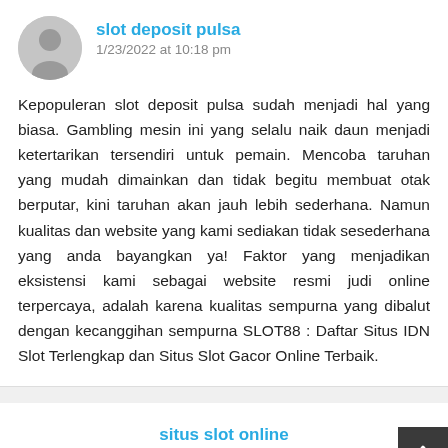[Figure (illustration): Gray circular avatar placeholder with silhouette of a person]
slot deposit pulsa
1/23/2022 at 10:18 pm
Kepopuleran slot deposit pulsa sudah menjadi hal yang biasa. Gambling mesin ini yang selalu naik daun menjadi ketertarikan tersendiri untuk pemain. Mencoba taruhan yang mudah dimainkan dan tidak begitu membuat otak berputar, kini taruhan akan jauh lebih sederhana. Namun kualitas dan website yang kami sediakan tidak sesederhana yang anda bayangkan ya! Faktor yang menjadikan eksistensi kami sebagai website resmi judi online terpercaya, adalah karena kualitas sempurna yang dibalut dengan kecanggihan sempurna SLOT88 : Daftar Situs IDN Slot Terlengkap dan Situs Slot Gacor Online Terbaik.
situs slot online
2/1/2022 at 9:52 pm